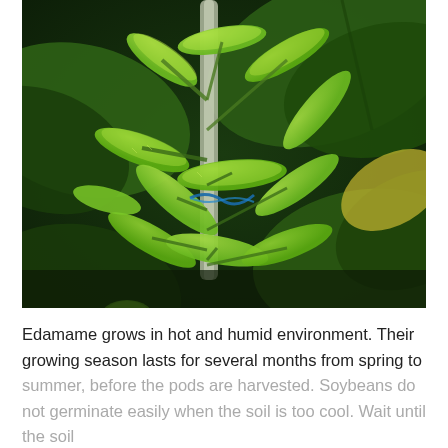[Figure (photo): Close-up photograph of edamame (soybean) pods growing on a plant stem, surrounded by large green leaves. The pods are bright green and numerous, with a small blue twist tie visible near the center of the cluster. The background is dark green foliage.]
Edamame grows in hot and humid environment. Their growing season lasts for several months from spring to summer, before the pods are harvested. Soybeans do not germinate easily when the soil is too cool. Wait until the soil